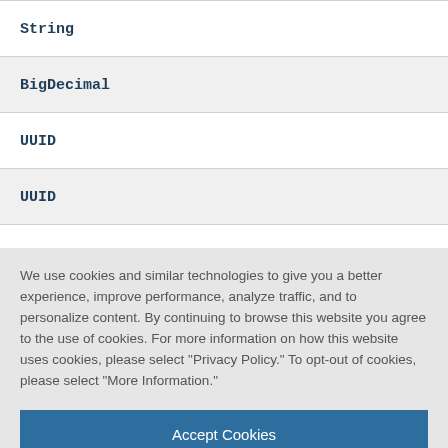String
BigDecimal
UUID
UUID
We use cookies and similar technologies to give you a better experience, improve performance, analyze traffic, and to personalize content. By continuing to browse this website you agree to the use of cookies. For more information on how this website uses cookies, please select "Privacy Policy." To opt-out of cookies, please select "More Information."
Accept Cookies
More Information
Privacy Policy | Powered by: TrustArc